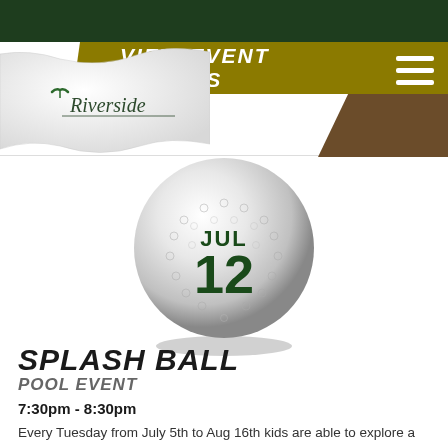VIEW EVENT DETAILS
[Figure (logo): Riverside golf club logo with flag and bird silhouette on white waving flag background]
[Figure (illustration): Golf ball with dimples showing date JUL 12 in dark green text on white background, with shadow underneath]
SPLASH BALL
POOL EVENT
7:30pm - 8:30pm
Every Tuesday from July 5th to Aug 16th kids are able to explore a new sport: water polo! It is an easy to